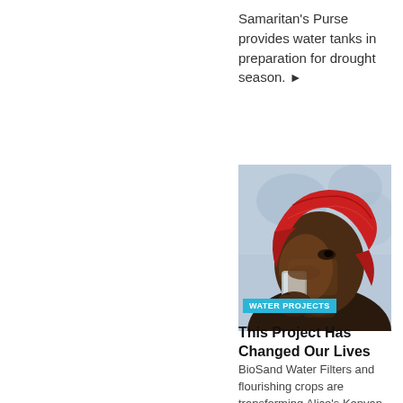Samaritan's Purse provides water tanks in preparation for drought season. ▶
[Figure (photo): A woman wearing a red patterned headscarf drinking from a glass, photographed in close-up.]
WATER PROJECTS
This Project Has Changed Our Lives
BioSand Water Filters and flourishing crops are transforming Alice's Kenyan community. ▶